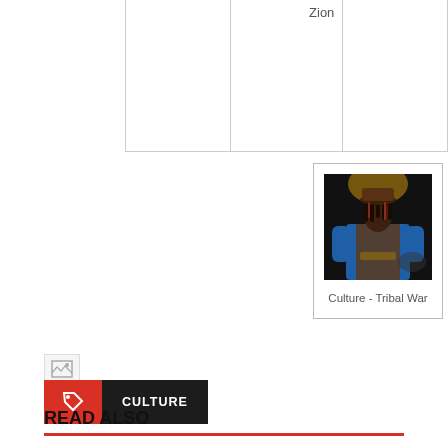Zion
[Figure (photo): A performer wearing a blue long-sleeve shirt and brown vest with dreadlocks, playing an instrument on stage with dramatic lighting]
Culture - Tribal War
[Figure (other): Broken image placeholder icon]
CULTURE
READ ALSO